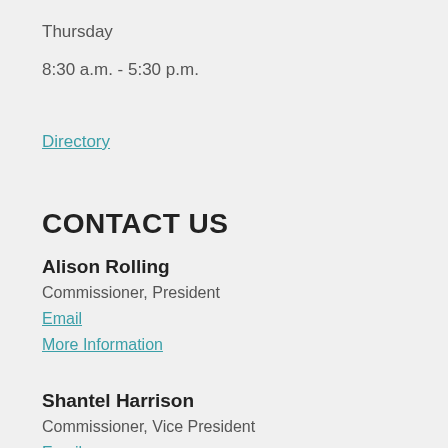Thursday
8:30 a.m. - 5:30 p.m.
Directory
CONTACT US
Alison Rolling
Commissioner, President
Email
More Information
Shantel Harrison
Commissioner, Vice President
Email